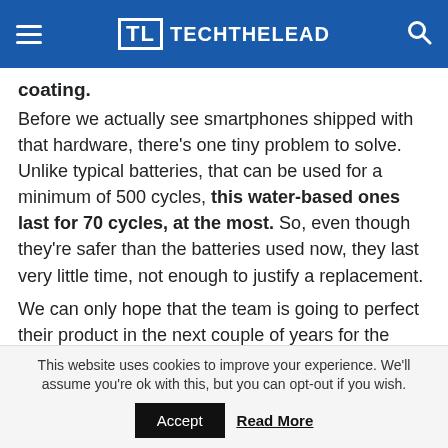TL TECHTHELEAD
coating.
Before we actually see smartphones shipped with that hardware, there's one tiny problem to solve. Unlike typical batteries, that can be used for a minimum of 500 cycles, this water-based ones last for 70 cycles, at the most. So, even though they're safer than the batteries used now, they last very little time, not enough to justify a replacement.
We can only hope that the team is going to perfect their product in the next couple of years for the sake of smartphone owners everywhere.
[Figure (other): Row of social sharing icon buttons: Facebook (dark blue circle), Twitter (light blue circle), LinkedIn (dark blue circle), Pinterest/Google (orange-red circle), WhatsApp (green circle)]
This website uses cookies to improve your experience. We'll assume you're ok with this, but you can opt-out if you wish.